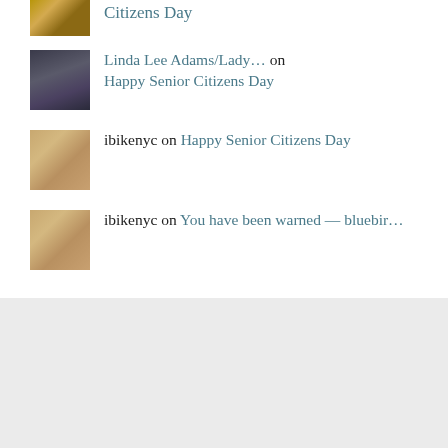Citizens Day
Linda Lee Adams/Lady… on Happy Senior Citizens Day
ibikenyc on Happy Senior Citizens Day
ibikenyc on You have been warned — bluebir…
ARCHIVES
August 2022